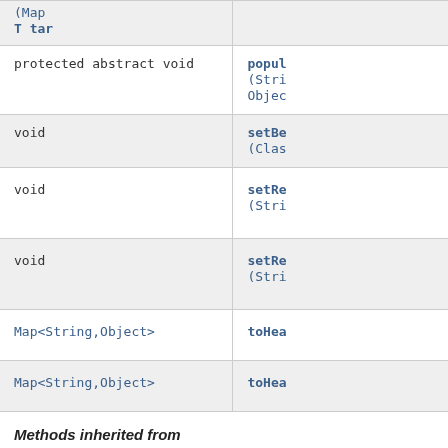| Type | Method |
| --- | --- |
| (Map
T tar | (truncated top row) |
| protected abstract void | popul
(Stri
Objec |
| void | setBe
(Clas |
| void | setRe
(Stri |
| void | setRe
(Stri |
| Map<String,Object> | toHea |
| Map<String,Object> | toHea |
Methods inherited from
class java Object...